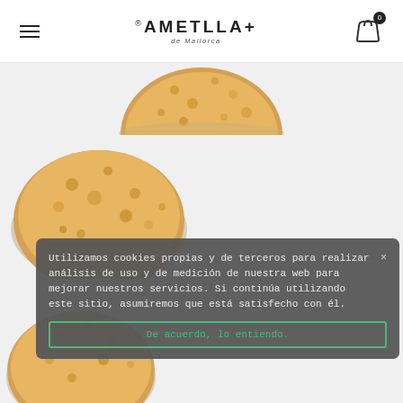≡  *AMETLLA+ de Mallorca  🛍 0
[Figure (photo): Partially visible round almond cookie/biscuit from top, golden brown with sugar crystals, shown at top of product listing]
[Figure (photo): Round almond cookie/biscuit, golden brown with sugar crystals on top, partially behind cookie notice]
[Figure (photo): Third round almond cookie/biscuit, partially visible at lower left behind cookie notice]
Utilizamos cookies propias y de terceros para realizar análisis de uso y de medición de nuestra web para mejorar nuestros servicios. Si continúa utilizando este sitio, asumiremos que está satisfecho con él.
De acuerdo, lo entiendo.